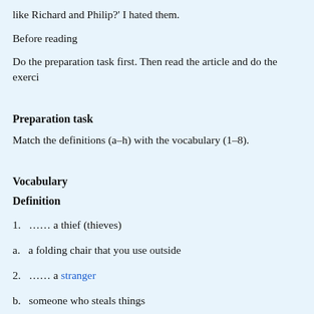like Richard and Philip?' I hated them.
Before reading
Do the preparation task first. Then read the article and do the exerci
Preparation task
Match the definitions (a–h) with the vocabulary (1–8).
Vocabulary
Definition
1.  …… a thief (thieves)
a.  a folding chair that you use outside
2.  …… a stranger
b.  someone who steals things